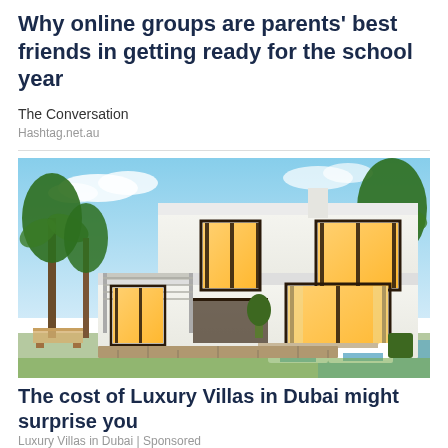Why online groups are parents' best friends in getting ready for the school year
The Conversation
Hashtag.net.au
[Figure (photo): Luxury white modern villa with palm trees, large glass windows glowing with warm interior light, outdoor seating area, blue sky background]
The cost of Luxury Villas in Dubai might surprise you
Luxury Villas in Dubai | Sponsored